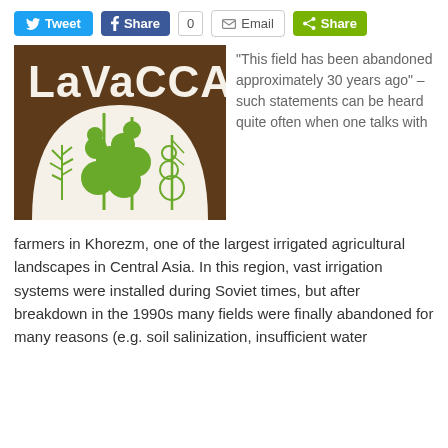[Figure (infographic): Social share bar with Tweet, Facebook Share with count 0, Email, and Share buttons]
[Figure (logo): LaVaCCA logo: brown square with white arch and green stylized tree/plant illustrations, white text 'LaVaCCA' at top]
“This field has been abandoned approximately 30 years ago” – such statements can be heard quite often when one talks with farmers in Khorezm, one of the largest irrigated agricultural landscapes in Central Asia. In this region, vast irrigation systems were installed during Soviet times, but after breakdown in the 1990s many fields were finally abandoned for many reasons (e.g. soil salinization, insufficient water